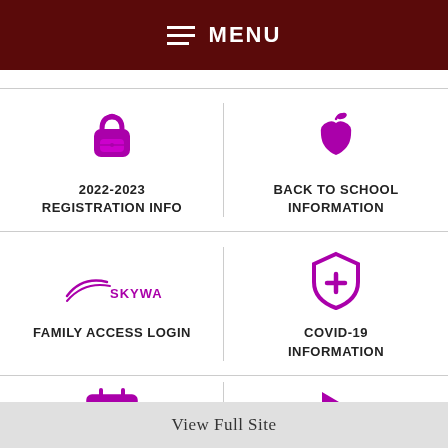MENU
[Figure (illustration): Purple backpack icon]
2022-2023 REGISTRATION INFO
[Figure (illustration): Purple apple icon]
BACK TO SCHOOL INFORMATION
[Figure (logo): Skyward logo in purple]
FAMILY ACCESS LOGIN
[Figure (illustration): Purple shield with plus sign icon]
COVID-19 INFORMATION
[Figure (illustration): Purple calendar icon]
[Figure (illustration): Purple play/arrow icon]
View Full Site